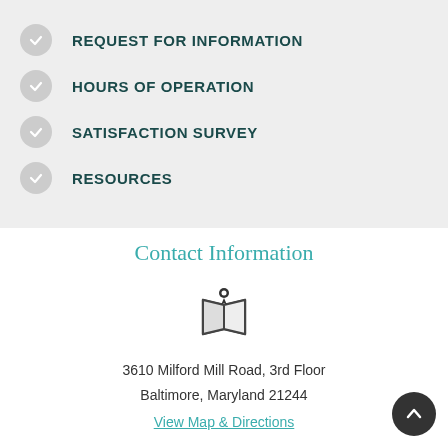REQUEST FOR INFORMATION
HOURS OF OPERATION
SATISFACTION SURVEY
RESOURCES
Contact Information
[Figure (illustration): Map pin icon over an open book/map illustration]
3610 Milford Mill Road, 3rd Floor
Baltimore, Maryland 21244
View Map & Directions